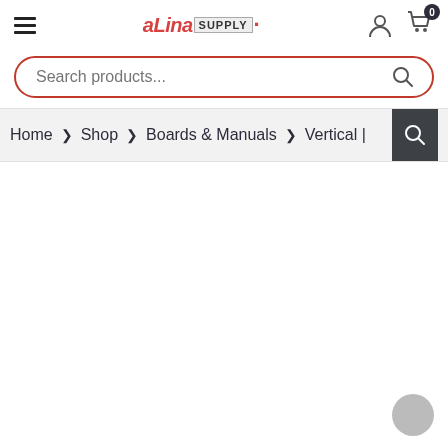≡  ALinaSUPPLY  [user icon] [cart 0]
Search products...
Home > Shop > Boards & Manuals > Vertical |